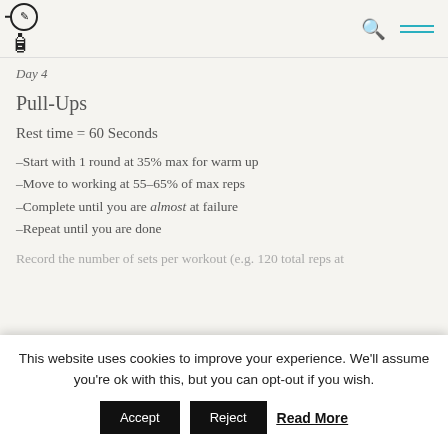Day 4
Pull-Ups
Rest time = 60 Seconds
-Start with 1 round at 35% max for warm up
-Move to working at 55-65% of max reps
-Complete until you are almost at failure
-Repeat until you are done
Record the number of sets per workout (e.g. 120 total reps at
This website uses cookies to improve your experience. We'll assume you're ok with this, but you can opt-out if you wish.